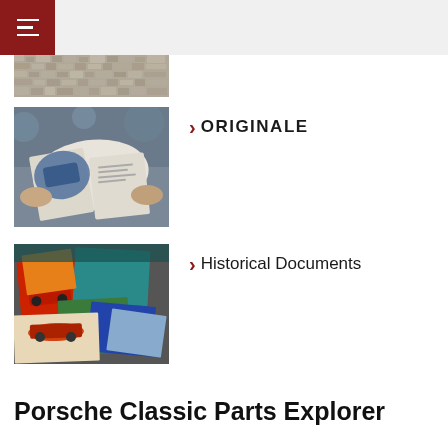Navigation menu header
[Figure (photo): Partial thumbnail of a textured/noisy image at top of list]
[Figure (photo): Person reading a Porsche magazine/book showing a blue car]
> ORIGINALE
[Figure (photo): Collection of colorful Porsche historical booklets and documents spread out]
> Historical Documents
Porsche Classic Parts Explorer